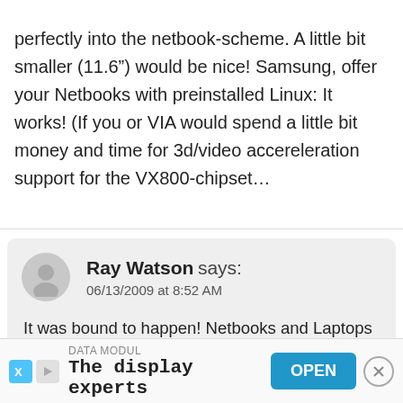perfectly into the netbook-scheme. A little bit smaller (11.6") would be nice! Samsung, offer your Netbooks with preinstalled Linux: It works! (If you or VIA would spend a little bit money and time for 3d/video accereleration support for the VX800-chipset…
Ray Watson says:
06/13/2009 at 8:52 AM
It was bound to happen! Netbooks and Laptops are merging as categories, and soon, other than the very high-end of the laptop market, everything else will be built around low-cost processors. That’s the only stuff that appears to sells.
I ju… net…
[Figure (infographic): Advertisement banner: DATA MODUL - The display experts, with OPEN button and close (X) button]